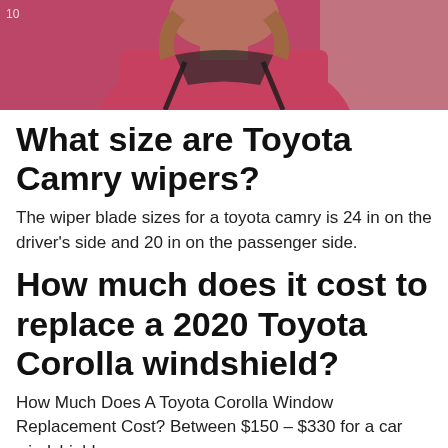[Figure (photo): Partial view of a person wearing a pink/red shirt with a camera strap, photographed from chest up, appearing to be recording a video.]
What size are Toyota Camry wipers?
The wiper blade sizes for a toyota camry is 24 in on the driver’s side and 20 in on the passenger side.
How much does it cost to replace a 2020 Toyota Corolla windshield?
How Much Does A Toyota Corolla Window Replacement Cost? Between $150 – $330 for a car windshield.